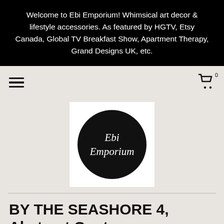Welcome to Ebi Emporium! Whimsical art decor & lifestyle accessories. As featured by HGTV, Etsy Canada, Global TV Breakfast Show, Apartment Therapy, Grand Designs UK, etc.
[Figure (logo): Ebi Emporium logo: black circle with white serif italic text reading 'Ebi Emporium' inside a white square box]
BY THE SEASHORE 4, Abstract Contemporary Coastal Landscape, Coastal Painting, Seaside Painting, S...